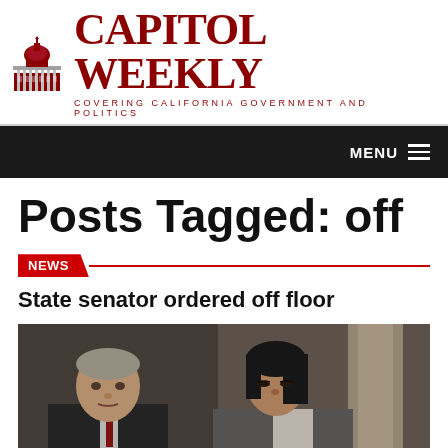[Figure (logo): Capitol Weekly logo with Capitol building icon, red serif text 'CAPITOL WEEKLY', subtitle 'COVERING CALIFORNIA GOVERNMENT AND POLITICS']
MENU
Posts Tagged: off
NEWS
State senator ordered off floor
[Figure (photo): Photo of two legislators seated, an older white man in a suit on the left and an Asian woman on the right, in what appears to be a senate chamber with a column visible in the background.]